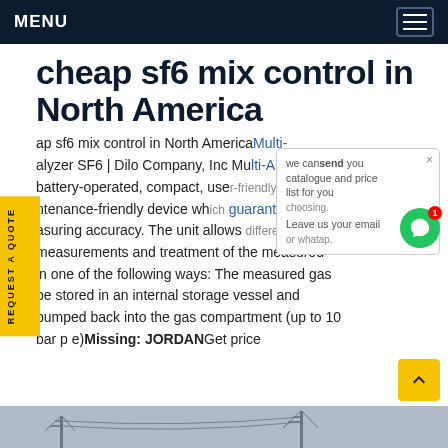MENU
cheap sf6 mix control in North America
cheap sf6 mix control in North America Multi-Analyser SF6 | Dilo Company, Inc Multi-Analyser SF6 battery-operated, compact, user-friendly, maintenance-friendly device which guarantees high measuring accuracy. The unit allows different kinds measurements and treatment of the measured in one of the following ways: The measured gas be stored in an internal storage vessel and pumped back into the gas compartment (up to 10 bar p e)Missing: JORDANGet price
[Figure (screenshot): Chat popup overlay with text 'we can send you catalogue and price list for you choosing. Leave us your email or whatap.' and a green chat circle button with red badge showing 1]
[Figure (photo): Bottom image strip showing electrical transmission towers/infrastructure]